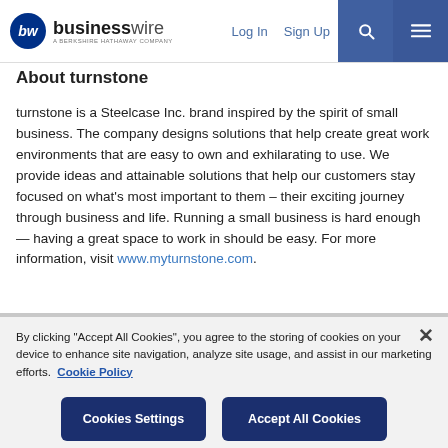businesswire — A BERKSHIRE HATHAWAY COMPANY | Log In | Sign Up
About turnstone
turnstone is a Steelcase Inc. brand inspired by the spirit of small business. The company designs solutions that help create great work environments that are easy to own and exhilarating to use. We provide ideas and attainable solutions that help our customers stay focused on what's most important to them – their exciting journey through business and life. Running a small business is hard enough— having a great space to work in should be easy. For more information, visit www.myturnstone.com.
By clicking "Accept All Cookies", you agree to the storing of cookies on your device to enhance site navigation, analyze site usage, and assist in our marketing efforts. Cookie Policy
Cookies Settings | Accept All Cookies